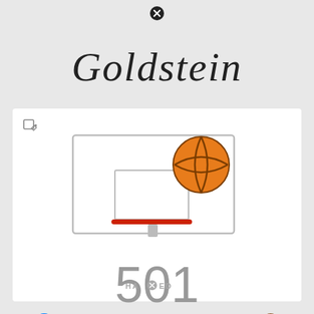[Figure (logo): Close/X button circle icon at top center]
Goldstein
[Figure (illustration): Basketball hoop backboard with basketball emoji, edit icon in top left corner. Large number 501 below, then Messenger emoji icon, BASKETBALL HACK text, and basketball emoji.]
HAXED with X circle icon